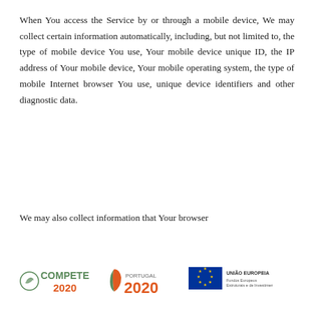When You access the Service by or through a mobile device, We may collect certain information automatically, including, but not limited to, the type of mobile device You use, Your mobile device unique ID, the IP address of Your mobile device, Your mobile operating system, the type of mobile Internet browser You use, unique device identifiers and other diagnostic data.
We may also collect information that Your browser
[Figure (logo): Footer logos: COMPETE 2020, PORTUGAL 2020, and EU flag with UNIÃO EUROPEIA / Fundos Europeus Estruturais e de Investimento]